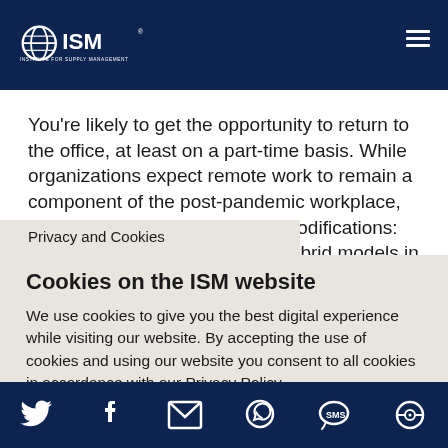ISM - Institute for Supply Management
You're likely to get the opportunity to return to the office, at least on a part-time basis. While organizations expect remote work to remain a component of the post-pandemic workplace, they also believe there will be modifications: Many companies will develop hybrid models in which [employees are] not in the office every day.
Privacy and Cookies
Cookies on the ISM website
We use cookies to give you the best digital experience while visiting our website. By accepting the use of cookies and using our website you consent to all cookies in accordance with our Privacy Policy.
Privacy Policy    Contact Us
Social media icons: Twitter, Facebook, Email, WhatsApp, SMS, Other